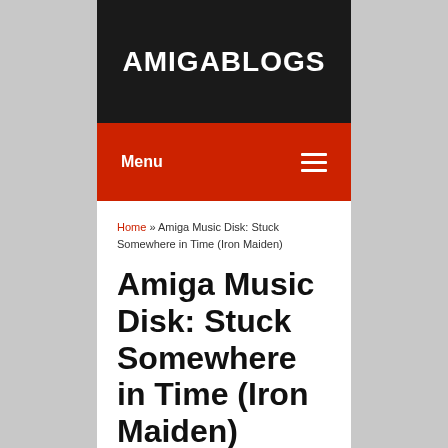AMIGABLOGS
Menu
Home » Amiga Music Disk: Stuck Somewhere in Time (Iron Maiden)
Amiga Music Disk: Stuck Somewhere in Time (Iron Maiden)